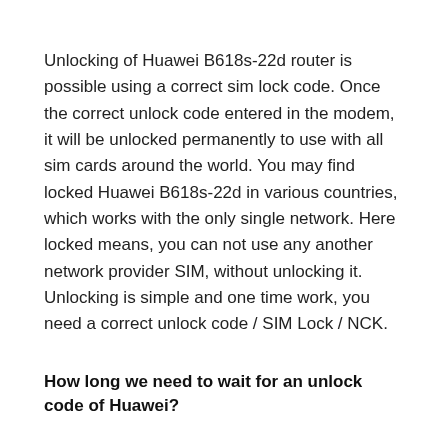Unlocking of Huawei B618s-22d router is possible using a correct sim lock code. Once the correct unlock code entered in the modem, it will be unlocked permanently to use with all sim cards around the world. You may find locked Huawei B618s-22d in various countries, which works with the only single network. Here locked means, you can not use any another network provider SIM, without unlocking it. Unlocking is simple and one time work, you need a correct unlock code / SIM Lock / NCK.
How long we need to wait for an unlock code of Huawei?
The approximate delivery time for a Huawei unlock code is 1 to 10 days.